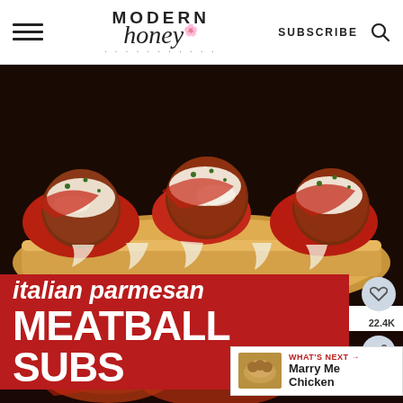MODERN honey — SUBSCRIBE
[Figure (photo): Close-up photo of Italian parmesan meatball sub on toasted bread, topped with marinara sauce and melted mozzarella cheese, garnished with parsley]
italian parmesan MEATBALL SUBS
[Figure (photo): Bottom portion of another meatball sub photo with marinara sauce and cheese]
WHAT'S NEXT → Marry Me Chicken